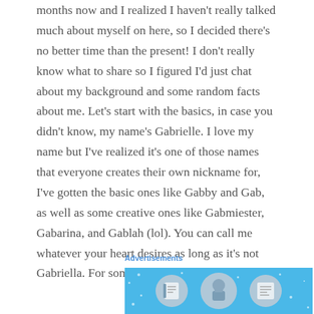months now and I realized I haven't really talked much about myself on here, so I decided there's no better time than the present! I don't really know what to share so I figured I'd just chat about my background and some random facts about me. Let's start with the basics, in case you didn't know, my name's Gabrielle. I love my name but I've realized it's one of those names that everyone creates their own nickname for, I've gotten the basic ones like Gabby and Gab, as well as some creative ones like Gabmiester, Gabarina, and Gablah (lol). You can call me whatever your heart desires as long as it's not Gabriella. For some reason that one irks me.
Advertisements
[Figure (illustration): Advertisement banner with light blue background showing three circular icons with illustrated characters/objects (appears to be education or technology themed icons) with small white star/dot decorations scattered around]